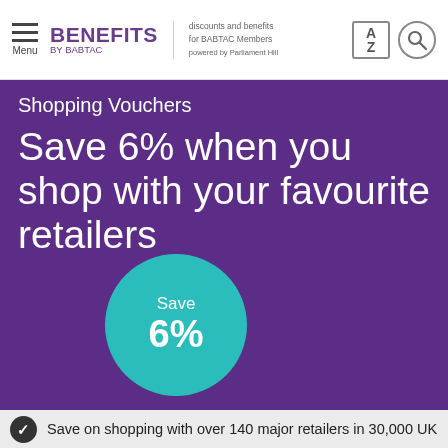BENEFITS BY BABTAC — discounts and benefits for BABTAC Members — powered by Parliament Hill
Shopping Vouchers
Save 6% when you shop with your favourite retailers
[Figure (infographic): Teal circular badge with text 'Save 6%']
Save on shopping with over 140 major retailers in 30,000 UK